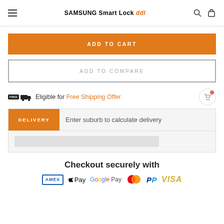SAMSUNG Smart Lock ddl
ADD TO CART
ADD TO COMPARE
Eligible for Free Shipping Offer
DELIVERY  Enter suburb to calculate delivery
Checkout securely with
[Figure (logo): Payment method logos: AMEX, Apple Pay, Google Pay, Mastercard, PayPal, VISA]